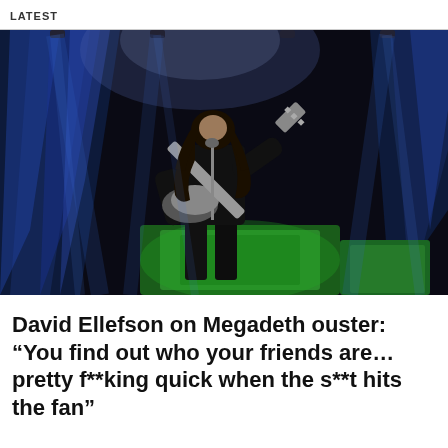LATEST
[Figure (photo): A guitarist with long hair performing on stage in a dark venue, wearing black clothing and playing a white and black electric guitar. Blue and green stage lights illuminate the background.]
David Ellefson on Megadeth ouster: “You find out who your friends are… pretty f**king quick when the s**t hits the fan”